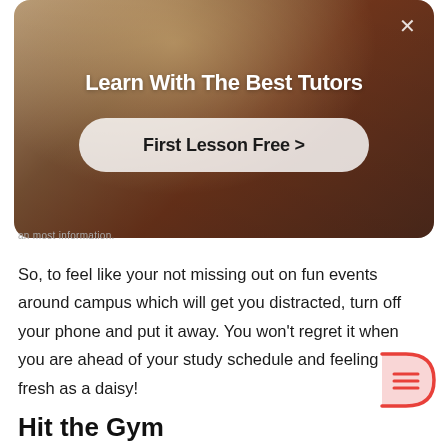[Figure (screenshot): Advertisement banner for tutoring service. Shows a person in a reddish-brown indoor setting. White bold text reads 'Learn With The Best Tutors'. A rounded white/translucent button says 'First Lesson Free >' with a close X button in the top right corner.]
So, to feel like your not missing out on fun events around campus which will get you distracted, turn off your phone and put it away. You won't regret it when you are ahead of your study schedule and feeling as fresh as a daisy!
Hit the Gym